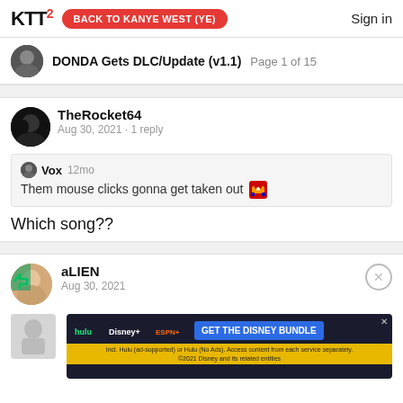KTT2  BACK TO KANYE WEST (YE)  Sign in
DONDA Gets DLC/Update (v1.1)  Page 1 of 15
TheRocket64
Aug 30, 2021 · 1 reply
Vox  12mo
Them mouse clicks gonna get taken out 🍄
Which song??
aLIEN
Aug 30, 2021
[Figure (other): Disney Bundle advertisement banner showing Hulu, Disney+, ESPN+ logos with blue GET THE DISNEY BUNDLE button and yellow disclaimer bar]